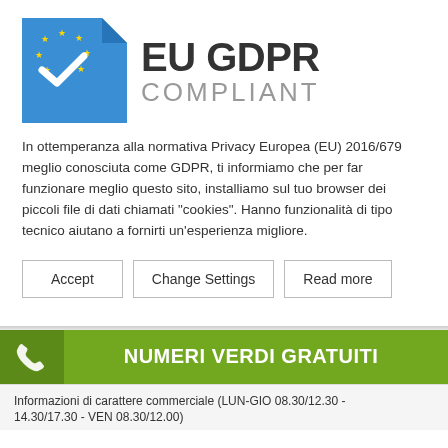[Figure (logo): EU GDPR Compliant logo with blue square icon showing EU stars and checkmark, followed by text 'EU GDPR COMPLIANT']
In ottemperanza alla normativa Privacy Europea (EU) 2016/679 meglio conosciuta come GDPR, ti informiamo che per far funzionare meglio questo sito, installiamo sul tuo browser dei piccoli file di dati chiamati "cookies". Hanno funzionalità di tipo tecnico aiutano a fornirti un'esperienza migliore.
Accept
Change Settings
Read more
NUMERI VERDI GRATUITI
Informazioni di carattere commerciale (LUN-GIO 08.30/12.30 - 14.30/17.30 - VEN 08.30/12.00)